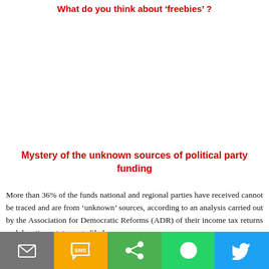What do you think about 'freebies'?
Mystery of the unknown sources of political party funding
More than 36% of the funds national and regional parties have received cannot be traced and are from 'unknown' sources, according to an analysis carried out by the Association for Democratic Reforms (ADR) of their income tax returns and donations statements filed
Email | SMS | Share | WhatsApp | Twitter